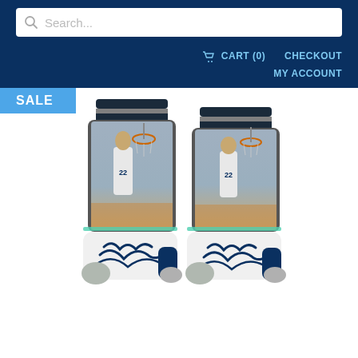[Figure (screenshot): E-commerce website header with search bar, cart/checkout/my account navigation on dark navy blue background]
Search...
CART (0)   CHECKOUT
MY ACCOUNT
[Figure (photo): Stance Andrew Wiggins NBA basketball socks featuring a photo of Andrew Wiggins dunking in a Minnesota Timberwolves #22 jersey. Socks are white/navy with a wolf claw graphic on the bottom. A SALE badge appears in the upper left.]
Stance Andrew Wiggins